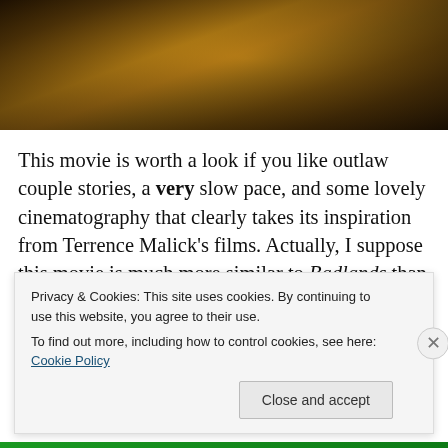[Figure (photo): Dark cinematic still from a film, warm amber/golden tones showing draped fabric or clothing in low light]
This movie is worth a look if you like outlaw couple stories, a very slow pace, and some lovely cinematography that clearly takes its inspiration from Terrence Malick's films. Actually, I suppose this movie is much more similar to Badlands than to Bonnie And Clyde. It's hard to know whether or not to recommend it as I think you'll either love
Privacy & Cookies: This site uses cookies. By continuing to use this website, you agree to their use.
To find out more, including how to control cookies, see here: Cookie Policy